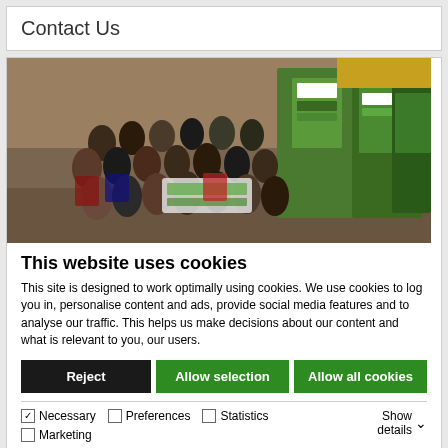Contact Us
[Figure (photo): Large group photo of students and staff indoors, with green 'Enhancing Student Engagement' banner stands in the background.]
This website uses cookies
This site is designed to work optimally using cookies. We use cookies to log you in, personalise content and ads, provide social media features and to analyse our traffic. This helps us make decisions about our content and what is relevant to you, our users.
Reject | Allow selection | Allow all cookies
Necessary  Preferences  Statistics  Marketing  Show details